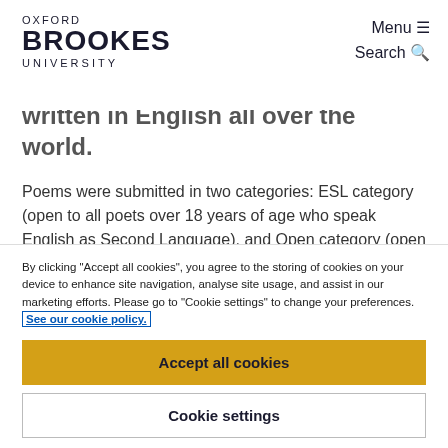OXFORD BROOKES UNIVERSITY | Menu ☰ | Search 🔍
written in English all over the world.
Poems were submitted in two categories: ESL category (open to all poets over 18 years of age who speak English as Second Language), and Open category (open to all poets over 18 years of age).
The competition was a great success, and we received almost 900 entries by over 400 different
By clicking "Accept all cookies", you agree to the storing of cookies on your device to enhance site navigation, analyse site usage, and assist in our marketing efforts. Please go to "Cookie settings" to change your preferences. See our cookie policy.
Accept all cookies
Cookie settings